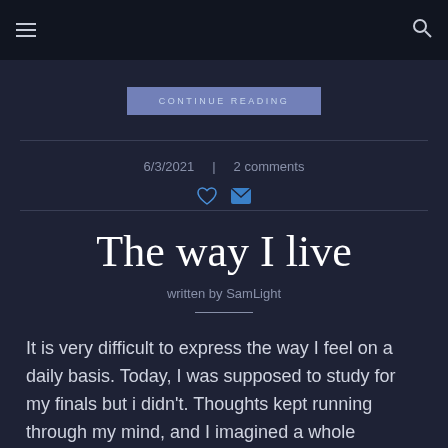≡   [search icon]
[Figure (screenshot): A button labeled 'CONTINUE READING' in light blue/purple style]
6/3/2021  |  2 comments
[Figure (other): Heart icon and envelope/email icon in blue]
The way I live
written by SamLight
It is very difficult to express the way I feel on a daily basis. Today, I was supposed to study for my finals but i didn't. Thoughts kept running through my mind, and I imagined a whole conversation with a psychiatrist and